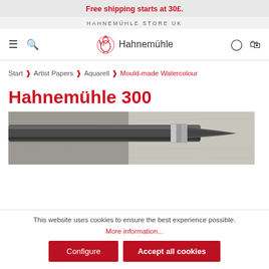Free shipping starts at 30£.
HAHNEMÜHLE STORE UK
Hahnemühle (logo navigation bar)
Start › Artist Papers › Aquarell › Mould-made Watercolour
Hahnemühle 300
[Figure (photo): Close-up photo of a paintbrush resting on textured watercolor paper]
This website uses cookies to ensure the best experience possible. More information...
Configure | Accept all cookies